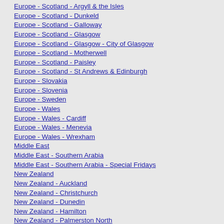Europe - Scotland - Argyll & the Isles
Europe - Scotland - Dunkeld
Europe - Scotland - Galloway
Europe - Scotland - Glasgow
Europe - Scotland - Glasgow - City of Glasgow
Europe - Scotland - Motherwell
Europe - Scotland - Paisley
Europe - Scotland - St Andrews & Edinburgh
Europe - Slovakia
Europe - Slovenia
Europe - Sweden
Europe - Wales
Europe - Wales - Cardiff
Europe - Wales - Menevia
Europe - Wales - Wrexham
Middle East
Middle East - Southern Arabia
Middle East - Southern Arabia - Special Fridays
New Zealand
New Zealand - Auckland
New Zealand - Christchurch
New Zealand - Dunedin
New Zealand - Hamilton
New Zealand - Palmerston North
New Zealand - Wellington
Philippines
United States
United States - Boston
United States - California
United States - Hartford